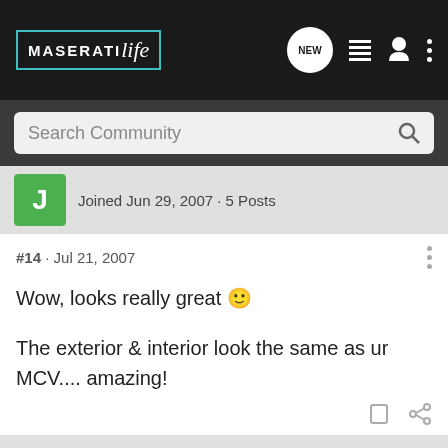MASERATIlife — Navigation bar with NEW chat, list, profile, and menu icons
Search Community
Joined Jun 29, 2007 · 5 Posts
#14 · Jul 21, 2007
Wow, looks really great 🙂
The exterior & interior look the same as ur MCV.... amazing!
1 - 14 of 14 Posts